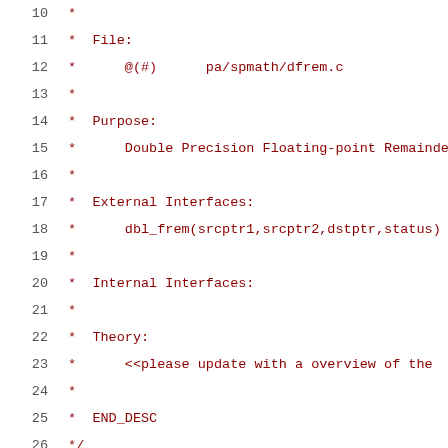Source code listing lines 10-31, C file header comment for pa/spmath/dfrem.c describing Double Precision Floating-point Remainder function, with includes for float.h and dbl_float.h